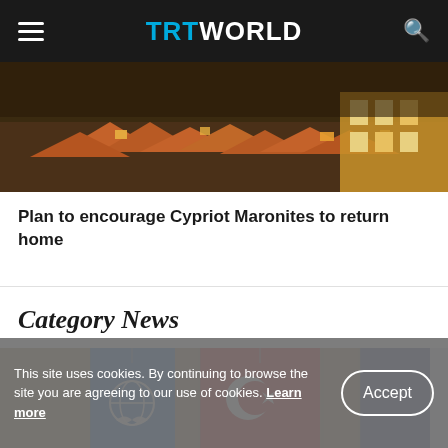TRT WORLD
[Figure (photo): Aerial/rooftop view of a town with orange-tiled roofs and illuminated buildings at dusk]
Plan to encourage Cypriot Maronites to return home
Category News
[Figure (photo): Flags including UN flag (blue with white emblem), Turkish flag (red with white crescent and star), and another flag, arranged in a row]
This site uses cookies. By continuing to browse the site you are agreeing to our use of cookies. Learn more